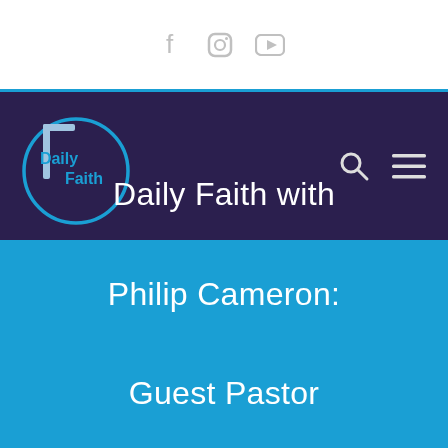Social media icons: Facebook, Instagram, YouTube
[Figure (logo): Daily Faith logo — blue circle with white cross and 'Daily Faith' text on dark navy navigation bar, with search and hamburger menu icons on the right]
Daily Faith with Philip Cameron: Guest Pastor Derek Draughon